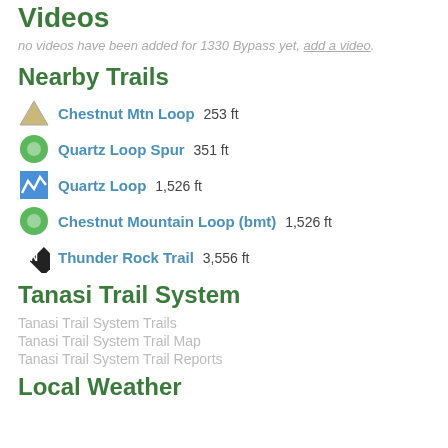Videos
no videos have been added for 1330 Bypass yet, add a video.
Nearby Trails
Chestnut Mtn Loop 253 ft
Quartz Loop Spur 351 ft
Quartz Loop 1,526 ft
Chestnut Mountain Loop (bmt) 1,526 ft
Thunder Rock Trail 3,556 ft
Tanasi Trail System
Tanasi Trail System Trails
Tanasi Trail System Trail Map
Tanasi Trail System Trail Reports
Local Weather